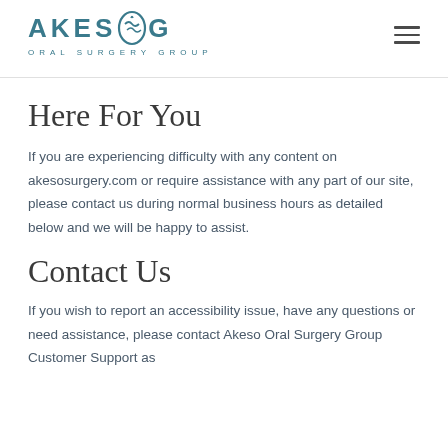AKESO ORAL SURGERY GROUP
Here For You
If you are experiencing difficulty with any content on akesosurgery.com or require assistance with any part of our site, please contact us during normal business hours as detailed below and we will be happy to assist.
Contact Us
If you wish to report an accessibility issue, have any questions or need assistance, please contact Akeso Oral Surgery Group Customer Support as